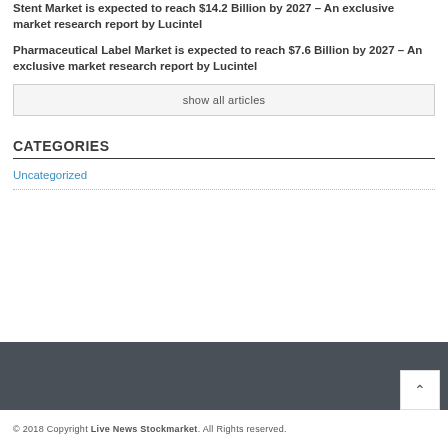Stent Market is expected to reach $14.2 Billion by 2027 – An exclusive market research report by Lucintel
Pharmaceutical Label Market is expected to reach $7.6 Billion by 2027 – An exclusive market research report by Lucintel
show all articles
CATEGORIES
Uncategorized
© 2018 Copyright Live News Stockmarket. All Rights reserved.